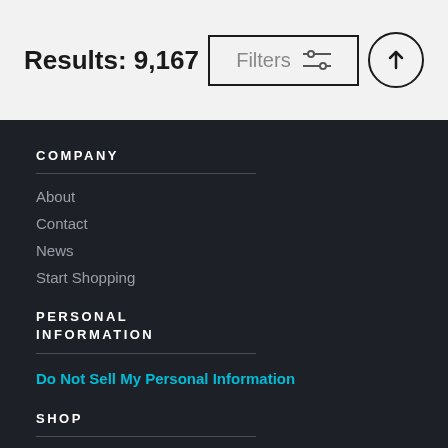Results: 9,167
Filters
COMPANY
About
Contact
News
Start Shopping
PERSONAL INFORMATION
Do Not Sell My Personal Information
SHOP
Canvas Prints
Framed Prints
Metal Prints
Acrylic Prints
Wood Prints